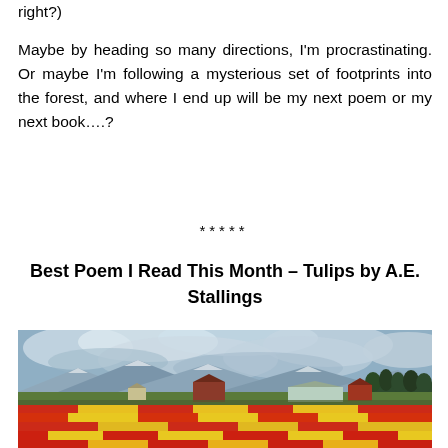right?)
Maybe by heading so many directions, I'm procrastinating. Or maybe I'm following a mysterious set of footprints into the forest, and where I end up will be my next poem or my next book….?
*****
Best Poem I Read This Month – Tulips by A.E. Stallings
[Figure (photo): A wide landscape photograph of a tulip field with rows of red and yellow tulips in the foreground, farm buildings including a red barn in the middle ground, mountains and a dramatic cloudy sky in the background.]